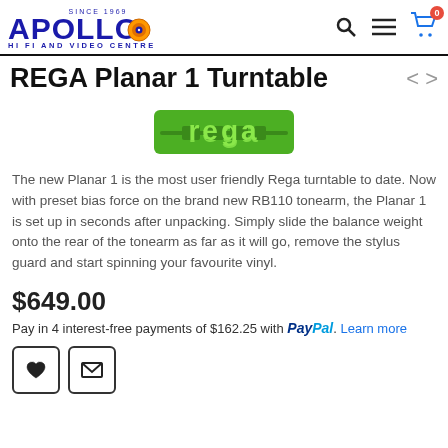Apollo Hi Fi and Video Centre — Since 1969
REGA Planar 1 Turntable
[Figure (logo): Rega brand logo in green]
The new Planar 1 is the most user friendly Rega turntable to date. Now with preset bias force on the brand new RB110 tonearm, the Planar 1 is set up in seconds after unpacking. Simply slide the balance weight onto the rear of the tonearm as far as it will go, remove the stylus guard and start spinning your favourite vinyl.
$649.00
Pay in 4 interest-free payments of $162.25 with PayPal. Learn more